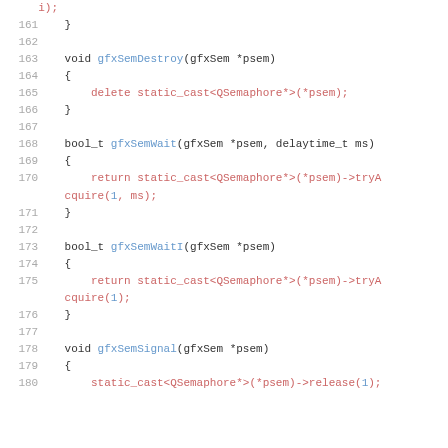Code snippet showing C++ functions gfxSemDestroy, gfxSemWait, gfxSemWaitI, gfxSemSignal, lines 161-180